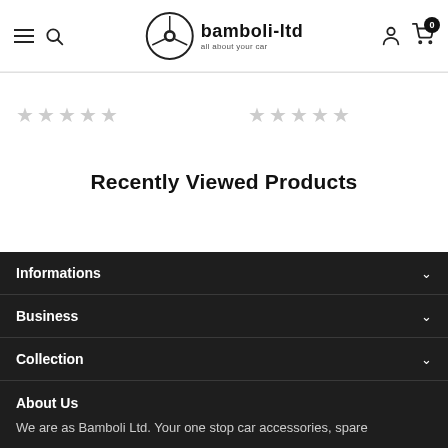[Figure (logo): Bamboli-ltd logo with steering wheel icon and text 'bamboli-ltd all about your car']
[Figure (other): Two sets of 5 empty star ratings in grey]
Recently Viewed Products
Informations
Business
Collection
About Us
We are as Bamboli Ltd. Your one stop car accessories, spare